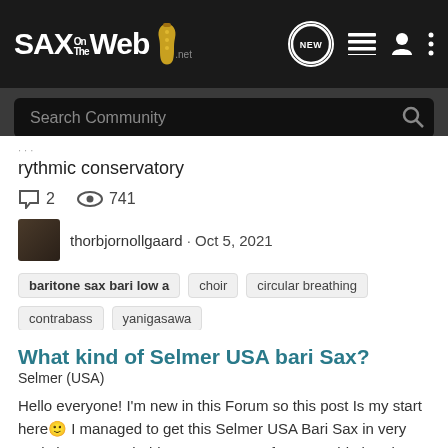SAX on the Web - Navigation header with search
rythmic conservatory
2 comments · 741 views
thorbjornollgaard · Oct 5, 2021
baritone sax bari low a
choir
circular breathing
contrabass
yanigasawa
What kind of Selmer USA bari Sax?
Selmer (USA)
Hello everyone! I'm new in this Forum so this post Is my start here🙂 I managed to get this Selmer USA Bari Sax in very Bad shape. It probably was property of an army big band, based in the Netherlands. The only safe Information I have is the serial number, which is 1031056. Can anyone tell me...